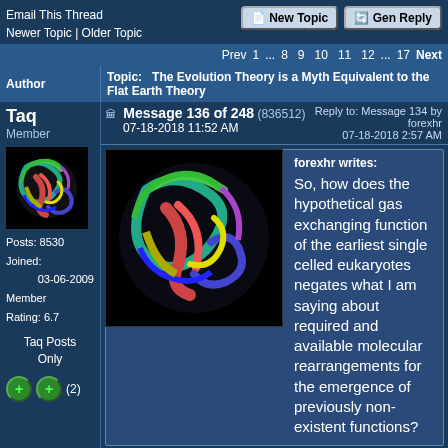Email This Thread
Newer Topic | Older Topic
New Topic  Gen Reply
Prev 1 ... 8 9 10 11 12 ... 17 Next
| Author | Topic: The Evolution Theory is a Myth Equivalent to the Flat Earth Theory |
| --- | --- |
| Taq
Member | Message 136 of 248 (836512)
07-18-2018 11:52 AM
Reply to: Message 134 by forexhr
07-18-2018 2:57 AM
forexhr writes:
So, how does the hypothetical gas exchanging function of the earliest single celled eukaryotes negates what I am saying about required and available molecular rearrangements for the emergence of previously non-existent functions?
What is hypothetical about it single celled organisms exchanging gases across their cell membranes? All modern single celled organisms do this now. In fact, it is nearly |
So, how does the hypothetical gas exchanging function of the earliest single celled eukaryotes negates what I am saying about required and available molecular rearrangements for the emergence of previously non-existent functions?
What is hypothetical about it single celled organisms exchanging gases across their cell membranes? All modern single celled organisms do this now. In fact, it is nearly